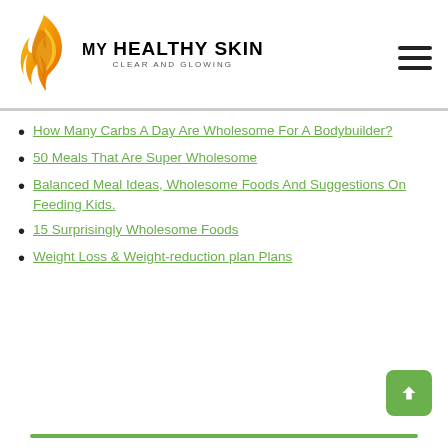[Figure (logo): My Healthy Skin - Clear and Glowing logo with orange/yellow flame silhouette of a woman's face]
How Many Carbs A Day Are Wholesome For A Bodybuilder?
50 Meals That Are Super Wholesome
Balanced Meal Ideas, Wholesome Foods And Suggestions On Feeding Kids.
15 Surprisingly Wholesome Foods
Weight Loss & Weight-reduction plan Plans